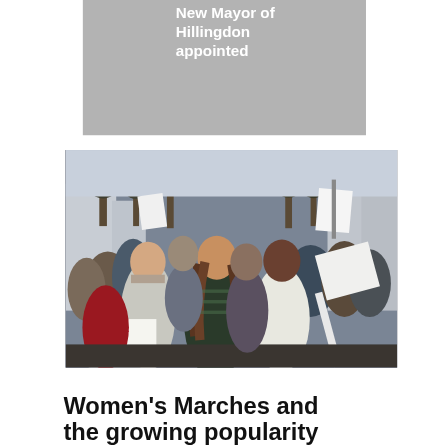[Figure (other): Grey card/thumbnail with white bold text reading 'New Mayor of Hillingdon appointed']
New Mayor of Hillingdon appointed
[Figure (photo): Outdoor protest/march photo showing a crowd of people, mostly women, chanting and holding signs (one reads 'POWER TO THE PEOPLE'). Trees and buildings visible in background. Appears to be a Women's March.]
Women's Marches and the growing popularity